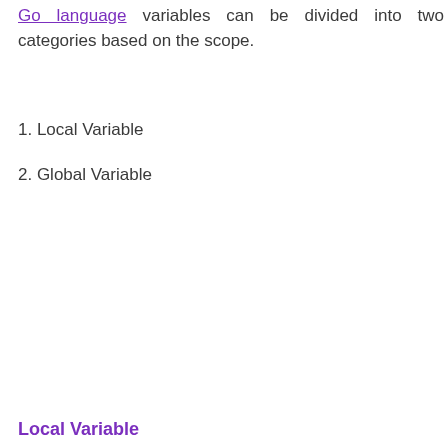Go language variables can be divided into two categories based on the scope.
1. Local Variable
2. Global Variable
Local Variable